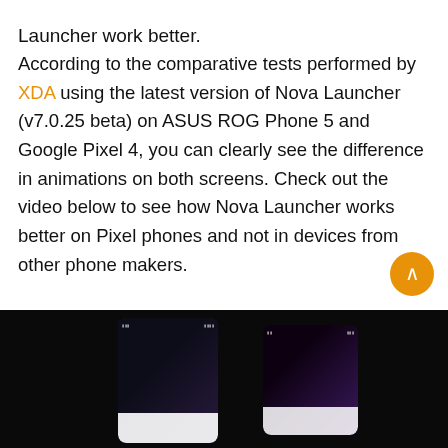Launcher work better.
According to the comparative tests performed by XDA using the latest version of Nova Launcher (v7.0.25 beta) on ASUS ROG Phone 5 and Google Pixel 4, you can clearly see the difference in animations on both screens. Check out the video below to see how Nova Launcher works better on Pixel phones and not in devices from other phone makers.
[Figure (screenshot): Dark screenshot showing two smartphone screens side by side demonstrating Nova Launcher animations on ASUS ROG Phone 5 and Google Pixel 4]